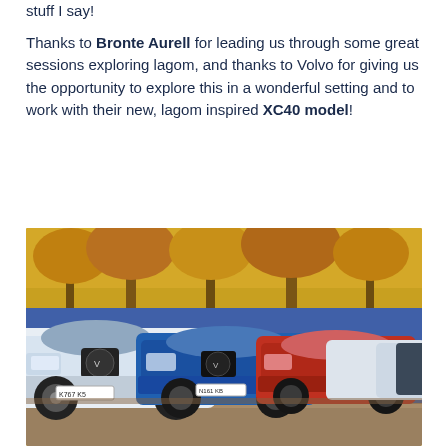stuff I say!
Thanks to Bronte Aurell for leading us through some great sessions exploring lagom, and thanks to Volvo for giving us the opportunity to explore this in a wonderful setting and to work with their new, lagom inspired XC40 model!
[Figure (photo): A row of Volvo XC40 cars parked side by side in a car park. The cars are in various colors including white, blue, red and black. Autumn trees with orange/brown leaves are visible in the background.]